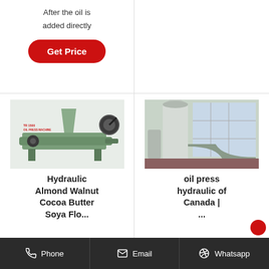After the oil is added directly
Get Price
[Figure (photo): Oil press machine (TR-1500 OIL PRESS MACHINE) - a mechanical olive/nut oil press with green body]
Hydraulic Almond Walnut Cocoa Butter Soya Flo...
[Figure (photo): Large industrial oil press hydraulic tower/column machinery inside a factory with windows]
oil press hydraulic of Canada | ...
Phone   Email   Whatsapp